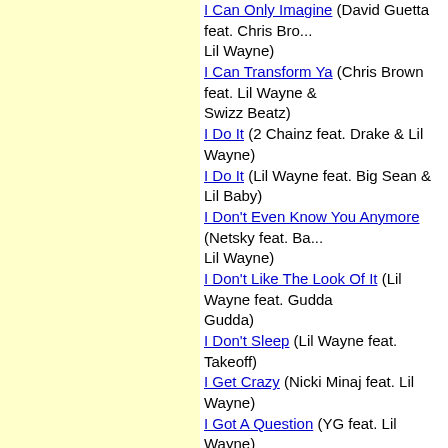I Can Only Imagine (David Guetta feat. Chris Brown & Lil Wayne)
I Can Transform Ya (Chris Brown feat. Lil Wayne & Swizz Beatz)
I Do It (2 Chainz feat. Drake & Lil Wayne)
I Do It (Lil Wayne feat. Big Sean & Lil Baby)
I Don't Even Know You Anymore (Netsky feat. Ba... Lil Wayne)
I Don't Like The Look Of It (Lil Wayne feat. Gudda Gudda)
I Don't Sleep (Lil Wayne feat. Takeoff)
I Get Crazy (Nicki Minaj feat. Lil Wayne)
I Got A Question (YG feat. Lil Wayne)
I Got Them (Yo Gotti feat. Lil Wayne & Baby)
I Heard You're Married (The Weeknd feat. Lil Way...)
I Like The View
I Love You Dwayne
I Made It (Cash Money Heroes) (Kevin Rudolf feat. Birdman, Jay Sean and Lil Wayne)
I Miss My Dawgs
I Run This (Birdman feat. Lil Wayne)
I Want It All (Birdman feat. Lil Wayne & Kevin Rud...)
Ianahb
Ice (Kelly Rowland feat. Lil Wayne)
If I Die Today (Lil Wayne feat. Rick Ross)
Ignant Shit (Drake feat. Lil Wayne)
I'll Die For You
I'm A D-Boy (Lil Wayne feat. Birdman)
I'm A Rider
I'm Going In (Drake Feat. Lil Wayne & Young Jeez...)
I'm Into You (Jennifer Lopez feat. Lil Wayne)
I'm Me
I'm On It (Tyga feat. Lil Wayne)
I'm On One (DJ Khaled feat. Drake, Rick Ross & [Lil Wayne])
I'm Single (Lil Wayne feat. Drake)
I'm Single
I'm So Sexy (Lil Wayne feat. Shar...)